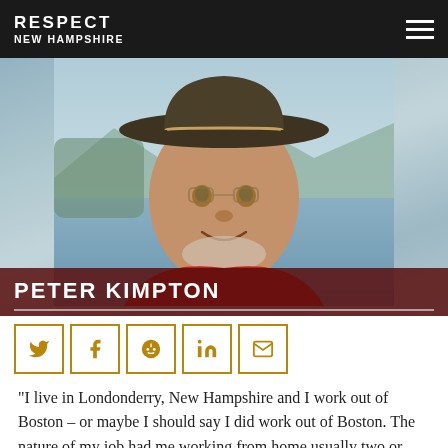RESPECT NEW HAMPSHIRE
[Figure (photo): Portrait photo of Peter Kimpton wearing a wide-brimmed hat and red jacket, outdoors near a lake with mountains in background]
PETER KIMPTON
[Figure (infographic): Social share icons: Twitter, Facebook, Reddit, LinkedIn, Email]
“I live in Londonderry, New Hampshire and I work out of Boston – or maybe I should say I did work out of Boston. The nature of my job had me working from home usually two or three days a week, and then in Boston the other two or three